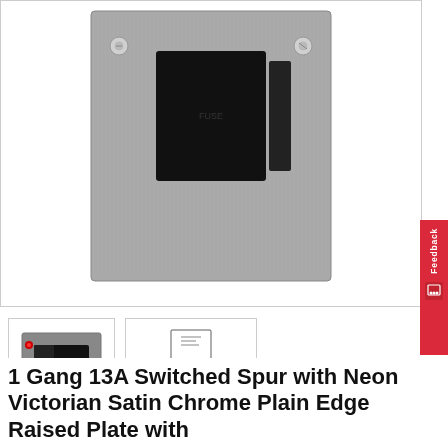[Figure (photo): Main product image showing a 1 Gang 13A Switched Spur with Neon, Victorian Satin Chrome Plain Edge Raised Plate. The photo shows a close-up of the metal plate with a black switch/fuse unit and two visible screws on top corners.]
[Figure (photo): Thumbnail 1: Small preview image of the product showing the front face with a red neon indicator and black rocker switch.]
[Figure (photo): Thumbnail 2: Small preview image showing the product instruction sheet / wiring diagram.]
1 Gang 13A Switched Spur with Neon Victorian Satin Chrome Plain Edge Raised Plate with